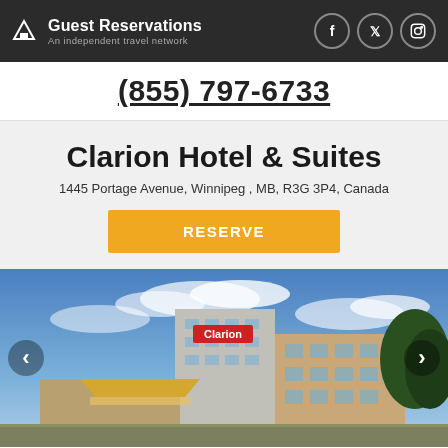Guest Reservations – An independent travel network
(855) 797-6733
Clarion Hotel & Suites
1445 Portage Avenue, Winnipeg , MB, R3G 3P4, Canada
RESERVE
[Figure (photo): Exterior photo of Clarion Hotel & Suites in Winnipeg, MB showing the hotel building with Clarion sign against a blue sky with clouds, with navigation arrows on left and right sides]